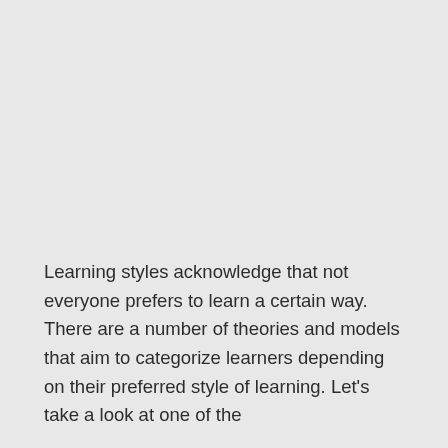Learning styles acknowledge that not everyone prefers to learn a certain way. There are a number of theories and models that aim to categorize learners depending on their preferred style of learning. Let's take a look at one of the